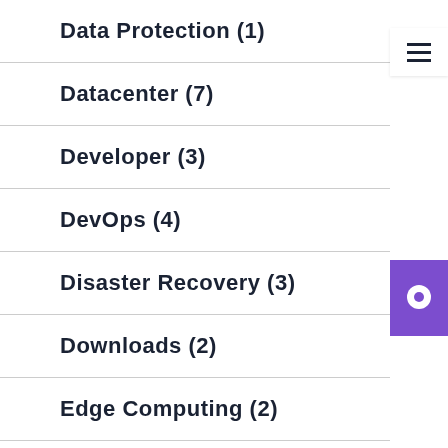Data Protection (1)
Datacenter (7)
Developer (3)
DevOps (4)
Disaster Recovery (3)
Downloads (2)
Edge Computing (2)
Enterprise Storage Guide (28)
Featured (52)
Featured (11)
Guides (11)